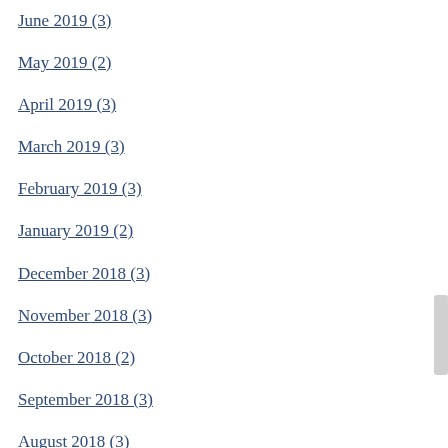June 2019 (3)
May 2019 (2)
April 2019 (3)
March 2019 (3)
February 2019 (3)
January 2019 (2)
December 2018 (3)
November 2018 (3)
October 2018 (2)
September 2018 (3)
August 2018 (3)
July 2018 (3)
June 2018 (2)